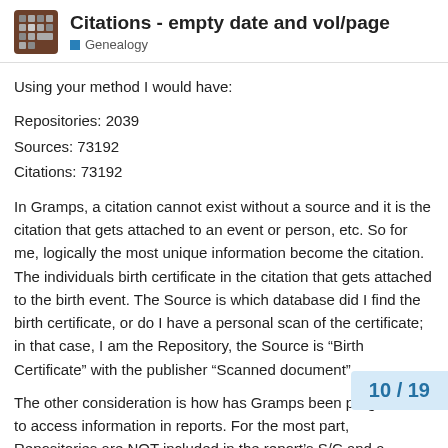Citations - empty date and vol/page
Genealogy
Using your method I would have:
Repositories: 2039
Sources: 73192
Citations: 73192
In Gramps, a citation cannot exist without a source and it is the citation that gets attached to an event or person, etc. So for me, logically the most unique information become the citation. The individuals birth certificate in the citation that gets attached to the birth event. The Source is which database did I find the birth certificate, or do I have a personal scan of the certificate; in that case, I am the Repository, the Source is “Birth Certificate” with the publisher “Scanned document”.
The other consideration is how has Gramps been programed to access information in reports. For the most part, Repositories are NOT included in the report’s S/C and a… Gramps is looking at the citation first in de… inclu…